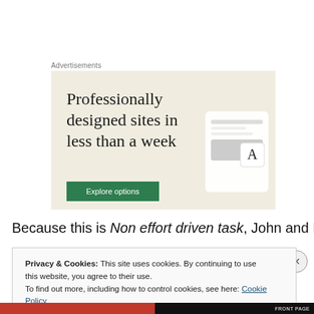Advertisements
[Figure (illustration): Advertisement banner with beige background. Headline text: 'Professionally designed sites in less than a week'. Green 'Explore options' button. Device mockup images on the right.]
Because this is Non effort driven task, John and Mary
Privacy & Cookies: This site uses cookies. By continuing to use this website, you agree to their use.
To find out more, including how to control cookies, see here: Cookie Policy
Close and accept